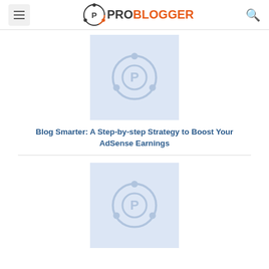PROBLOGGER
[Figure (logo): ProBlogger placeholder thumbnail image with circular P logo on light blue background]
Blog Smarter: A Step-by-step Strategy to Boost Your AdSense Earnings
[Figure (logo): ProBlogger placeholder thumbnail image with circular P logo on light blue background]